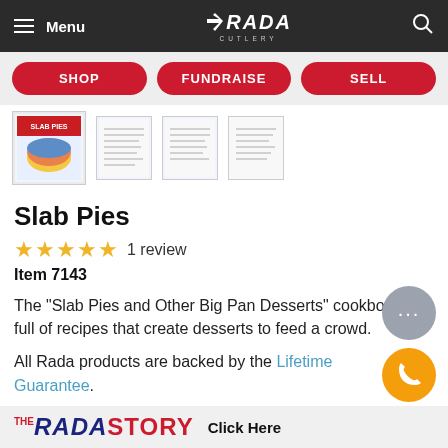Menu | RADA CUTLERY
[Figure (screenshot): Navigation buttons: SHOP, FUNDRAISE, SELL]
[Figure (photo): Thumbnail images of Slab Pies cookbook — main image and three smaller thumbnails]
Slab Pies
★★★★★  1 review
Item 7143
The "Slab Pies and Other Big Pan Desserts" cookbook is full of recipes that create desserts to feed a crowd.
All Rada products are backed by the Lifetime Guarantee.
THE RADA STORY  Click Here